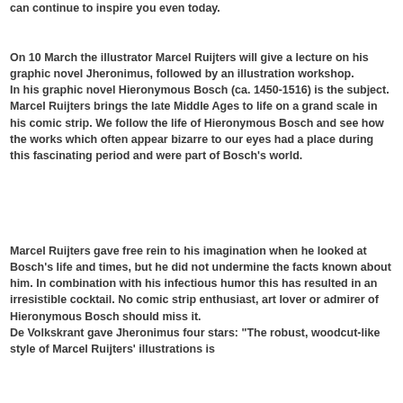can continue to inspire you even today.
On 10 March the illustrator Marcel Ruijters will give a lecture on his graphic novel Jheronimus, followed by an illustration workshop. In his graphic novel Hieronymous Bosch (ca. 1450-1516) is the subject. Marcel Ruijters brings the late Middle Ages to life on a grand scale in his comic strip. We follow the life of Hieronymous Bosch and see how the works which often appear bizarre to our eyes had a place during this fascinating period and were part of Bosch's world.
Marcel Ruijters gave free rein to his imagination when he looked at Bosch's life and times, but he did not undermine the facts known about him. In combination with his infectious humor this has resulted in an irresistible cocktail. No comic strip enthusiast, art lover or admirer of Hieronymous Bosch should miss it. De Volkskrant gave Jheronimus four stars: "The robust, woodcut-like style of Marcel Ruijters' illustrations is